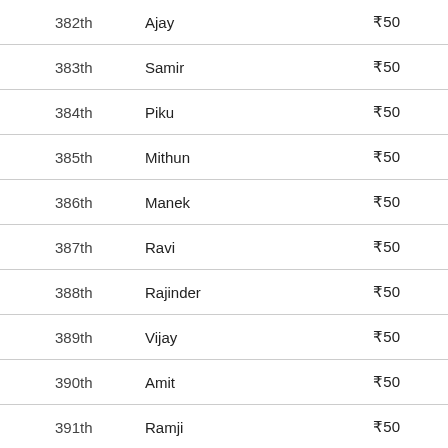| Rank | Name | Amount |
| --- | --- | --- |
| 382th | Ajay | ₹50 |
| 383th | Samir | ₹50 |
| 384th | Piku | ₹50 |
| 385th | Mithun | ₹50 |
| 386th | Manek | ₹50 |
| 387th | Ravi | ₹50 |
| 388th | Rajinder | ₹50 |
| 389th | Vijay | ₹50 |
| 390th | Amit | ₹50 |
| 391th | Ramji | ₹50 |
| 392th | Thakor | ₹50 |
| 393th | Vct | ₹50 |